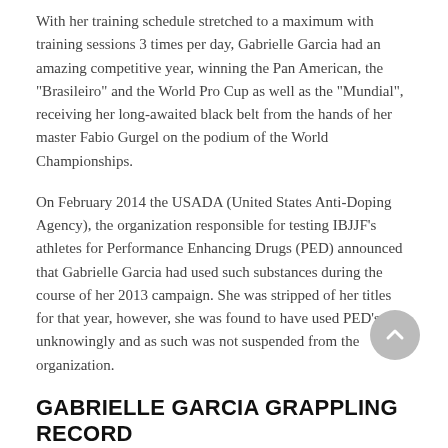With her training schedule stretched to a maximum with training sessions 3 times per day, Gabrielle Garcia had an amazing competitive year, winning the Pan American, the "Brasileiro" and the World Pro Cup as well as the "Mundial", receiving her long-awaited black belt from the hands of her master Fabio Gurgel on the podium of the World Championships.
On February 2014 the USADA (United States Anti-Doping Agency), the organization responsible for testing IBJJF's athletes for Performance Enhancing Drugs (PED) announced that Gabrielle Garcia had used such substances during the course of her 2013 campaign. She was stripped of her titles for that year, however, she was found to have used PED's unknowingly and as such was not suspended from the organization.
GABRIELLE GARCIA GRAPPLING RECORD